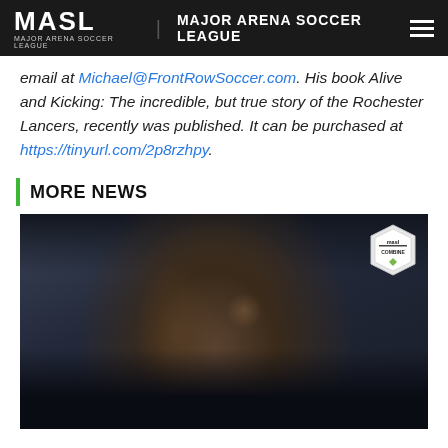MASL MAJOR ARENA SOCCER LEAGUE
email at Michael@FrontRowSoccer.com. His book Alive and Kicking: The incredible, but true story of the Rochester Lancers, recently was published. It can be purchased at https://tinyurl.com/2p8rzhpy.
MORE NEWS
[Figure (photo): Close-up photo of a sweating Black male athlete looking downward, wearing a dark shirt. A MASL Combine badge/logo is visible in the upper right corner of the image.]